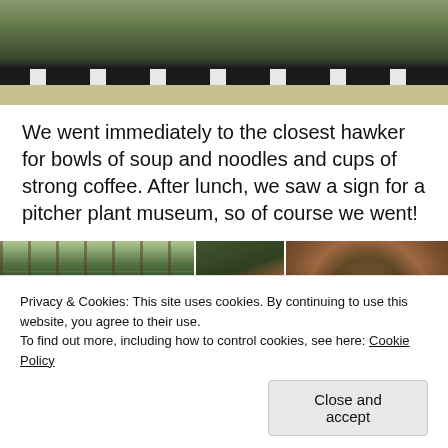[Figure (photo): Top portion of a road/pathway photo showing grass verge and striped road curb/kerb with black and white markings]
We went immediately to the closest hawker for bowls of soup and noodles and cups of strong coffee. After lunch, we saw a sign for a pitcher plant museum, so of course we went!
[Figure (photo): Grid of plant/garden photos showing a greenhouse structure with hanging plants, a potted plant with screen, a close-up of a plant pot with small round objects, and two more garden/tree photos below]
Privacy & Cookies: This site uses cookies. By continuing to use this website, you agree to their use.
To find out more, including how to control cookies, see here: Cookie Policy

Close and accept